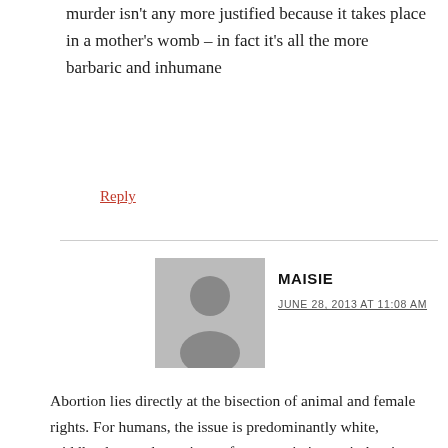murder isn't any more justified because it takes place in a mother's womb – in fact it's all the more barbaric and inhumane
Reply
MAISIE
JUNE 28, 2013 AT 11:08 AM
Abortion lies directly at the bisection of animal and female rights. For humans, the issue is predominantly white, middle-class males trying to force restrictive anti-abortion laws on women, removing their agency and control over their own bodies.
Similarly, animal reproduction is controlled by humans. We genetically engineered chickens to produce more eggs